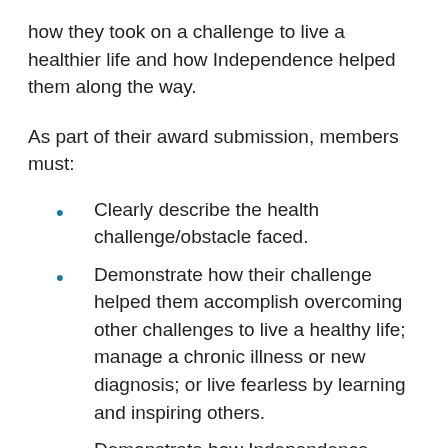how they took on a challenge to live a healthier life and how Independence helped them along the way.
As part of their award submission, members must:
Clearly describe the health challenge/obstacle faced.
Demonstrate how their challenge helped them accomplish overcoming other challenges to live a healthy life; manage a chronic illness or new diagnosis; or live fearless by learning and inspiring others.
Demonstrate how Independence impacted their efforts to face the challenge and explain how Blue Cross